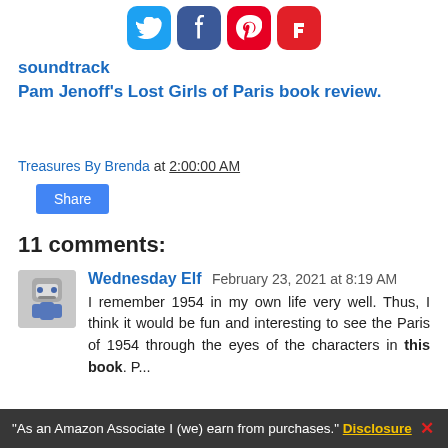[Figure (other): Row of four social media sharing icons: Twitter (blue), Facebook (dark blue), Pinterest (red), Flipboard (red)]
soundtrack
Pam Jenoff's Lost Girls of Paris book review.
Treasures By Brenda at 2:00:00 AM
Share
11 comments:
Wednesday Elf  February 23, 2021 at 8:19 AM
I remember 1954 in my own life very well. Thus, I think it would be fun and interesting to see the Paris of 1954 through the eyes of the characters in this book. P...
"As an Amazon Associate I (we) earn from purchases." Disclosure ✕